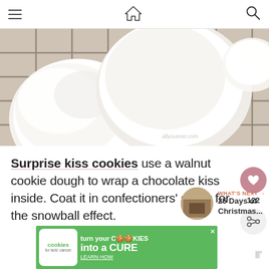Navigation header with hamburger menu, home icon, and search icon
[Figure (photo): Close-up photo of snowball cookies (surprise kiss cookies) dusted with powdered sugar on a wire cooling rack. Text watermark visible in lower right.]
Surprise kiss cookies use a walnut cookie dough to wrap a chocolate kiss inside. Coat it in confectioners' sugar for the snowball effect.
[Figure (infographic): Heart/like button showing 122 likes, and a share button]
[Figure (infographic): What's Next section: thumbnail image with text '25 Days of Christmas...' and arrow]
[Figure (infographic): Advertisement banner: Cookies for Kids Cancer - turn your COOKIES into a CURE. LEARN HOW]